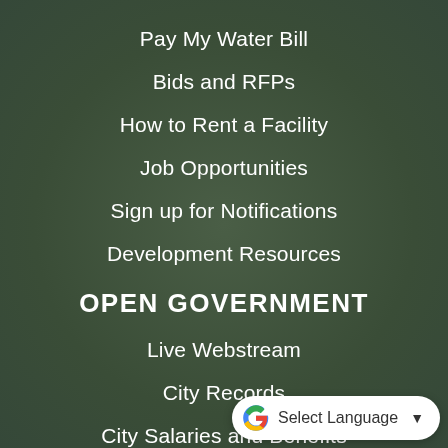Pay My Water Bill
Bids and RFPs
How to Rent a Facility
Job Opportunities
Sign up for Notifications
Development Resources
OPEN GOVERNMENT
Live Webstream
City Records
City Salaries and Benefits
Municipal Code
Pension Refo...
[Figure (logo): Google Translate widget with G logo and 'Select Language' dropdown button]